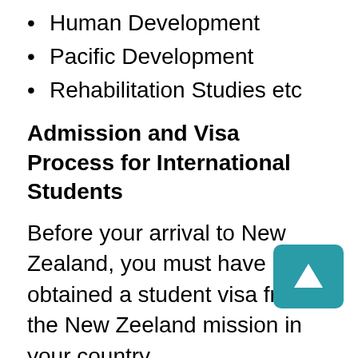Human Development
Pacific Development
Rehabilitation Studies etc
Admission and Visa Process for International Students
Before your arrival to New Zealand, you must have obtained a student visa from the New Zeeland mission in your country.
After your studies, you need to apply for the visa to work, and it has to be approved. There are two types of post-work visa:
Post-Study Work Visa: This visa gives